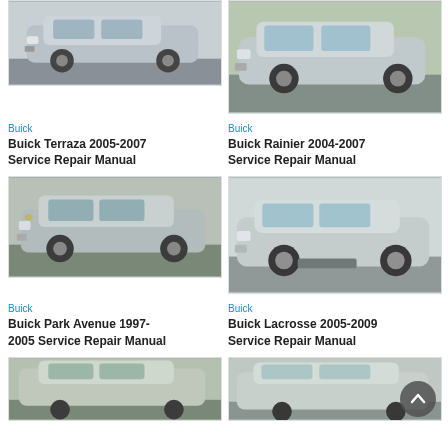[Figure (photo): Silver Buick Terraza minivan/SUV photographed from front-left angle on a road]
[Figure (photo): Silver Buick Rainier SUV photographed from front-right angle in a driveway]
Buick
Buick Terraza 2005-2007 Service Repair Manual
Buick
Buick Rainier 2004-2007 Service Repair Manual
[Figure (photo): Silver Buick Park Avenue sedan photographed from front-right angle in a parking lot]
[Figure (photo): Silver Buick LaCrosse sedan photographed from front-right angle on a road]
Buick
Buick Park Avenue 1997-2005 Service Repair Manual
Buick
Buick Lacrosse 2005-2009 Service Repair Manual
[Figure (photo): Partial view of two Buick vehicles from above at the bottom of the page — cropped]
[Figure (photo): Partial view of a silver Buick sedan side profile at the bottom of the page — cropped]